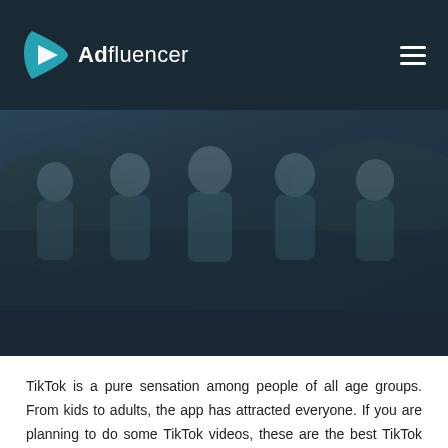Adfluencer
[Figure (photo): Hero banner photo showing a group of young people sitting together looking at phones, with a dark blue overlay tint]
These Are The Best TikTok Trends of 2022
Home / Tiktok / These Are The Best TikTok Trends of 2022
TikTok is a pure sensation among people of all age groups. From kids to adults, the app has attracted everyone. If you are planning to do some TikTok videos, these are the best TikTok trends of 2022 that